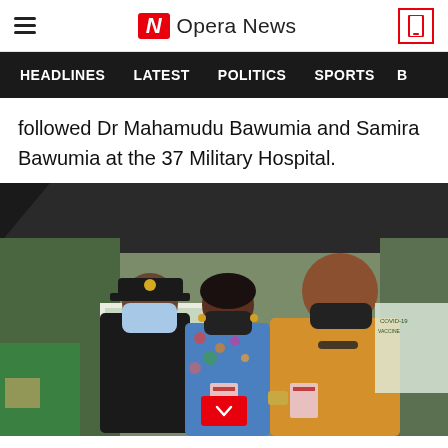Opera News
HEADLINES   LATEST   POLITICS   SPORTS   B
followed Dr Mahamudu Bawumia and Samira Bawumia at the 37 Military Hospital.
[Figure (photo): Three people wearing face masks standing outdoors under a dark tent at what appears to be a COVID-19 vaccination site. A police officer in uniform on the left, a woman in a floral dress in the middle, and a bald man in a yellow polo shirt on the right. Both the woman and the man are holding pink vaccination cards.]